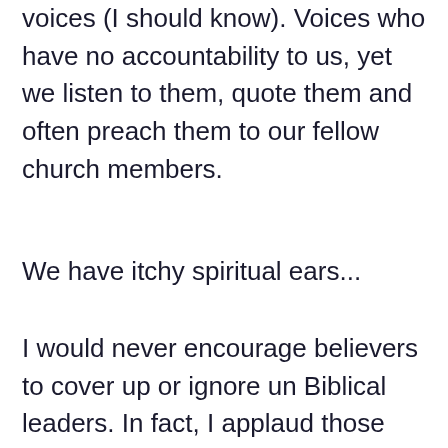voices (I should know). Voices who have no accountability to us, yet we listen to them, quote them and often preach them to our fellow church members.
We have itchy spiritual ears...
I would never encourage believers to cover up or ignore un Biblical leaders. In fact, I applaud those who've bravely made known, the unscriptural crimes and behaviors that have been exposed of late. There are also times when listening to other voices vs the ones within our church walls are helpful for discerning when a church has gone